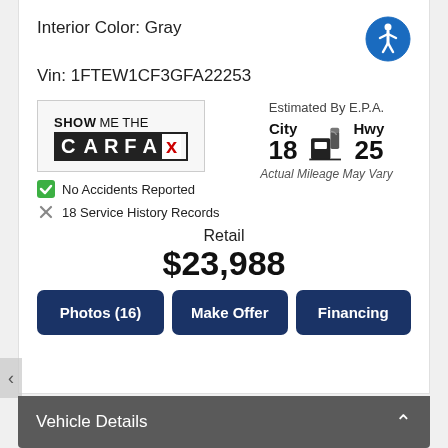Interior Color: Gray
Vin: 1FTEW1CF3GFA22253
[Figure (logo): CARFAX Show Me The Carfax logo]
No Accidents Reported
18 Service History Records
Estimated By E.P.A. City 18 Hwy 25 Actual Mileage May Vary
Retail $23,988
Photos (16) | Make Offer | Financing
Vehicle Details